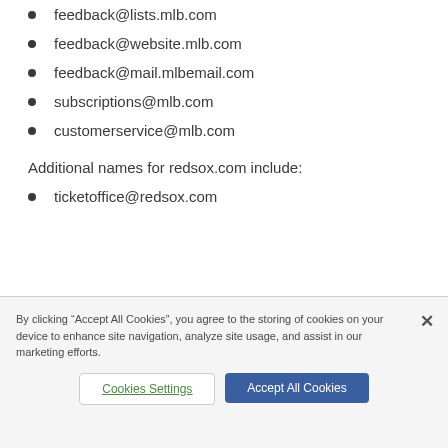feedback@lists.mlb.com
feedback@website.mlb.com
feedback@mail.mlbemail.com
subscriptions@mlb.com
customerservice@mlb.com
Additional names for redsox.com include:
ticketoffice@redsox.com
By clicking “Accept All Cookies”, you agree to the storing of cookies on your device to enhance site navigation, analyze site usage, and assist in our marketing efforts.
Cookies Settings
Accept All Cookies